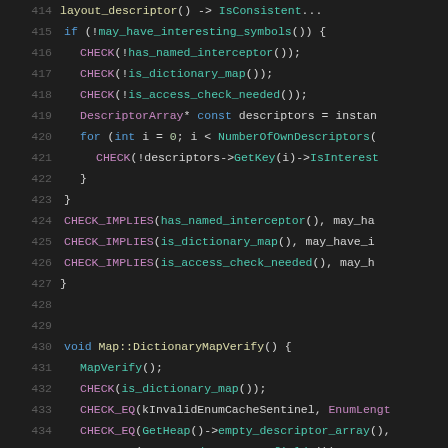[Figure (screenshot): Source code listing showing lines 415-435 of a C++ file with syntax highlighting. Dark background with colored tokens for keywords, types, function calls, and operators.]